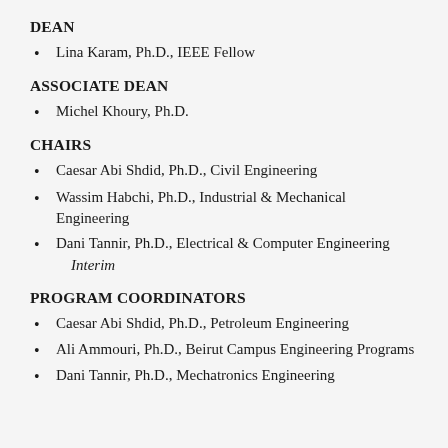DEAN
Lina Karam, Ph.D., IEEE Fellow
ASSOCIATE DEAN
Michel Khoury, Ph.D.
CHAIRS
Caesar Abi Shdid, Ph.D., Civil Engineering
Wassim Habchi, Ph.D., Industrial & Mechanical Engineering
Dani Tannir, Ph.D., Electrical & Computer Engineering    Interim
PROGRAM COORDINATORS
Caesar Abi Shdid, Ph.D., Petroleum Engineering
Ali Ammouri, Ph.D., Beirut Campus Engineering Programs
Dani Tannir, Ph.D., Mechatronics Engineering